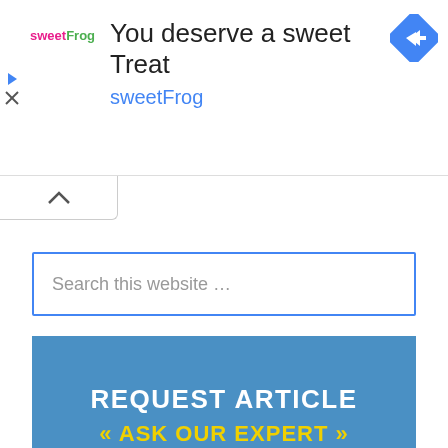[Figure (screenshot): Advertisement banner for sweetFrog with logo, headline 'You deserve a sweet Treat', subtext 'sweetFrog', navigation icon (blue diamond with right arrow), and ad control icons (play triangle and X close button)]
[Figure (other): Collapse/scroll up button with caret (^) symbol]
Search this website …
REQUEST ARTICLE « ASK OUR EXPERT »
FEATURED POSTS
Difference Between Coronavirus and Cold Symptoms